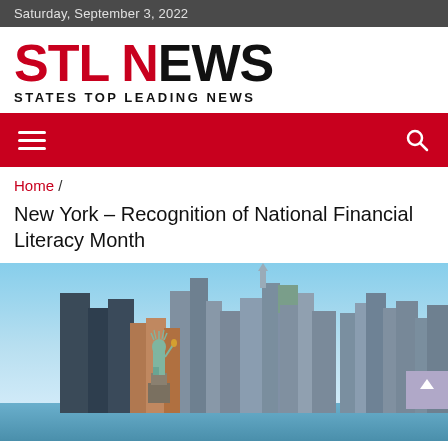Saturday, September 3, 2022
[Figure (logo): STL NEWS - States Top Leading News logo with red S, red N and black remaining letters]
[Figure (other): Red navigation bar with hamburger menu on left and search icon on right]
Home /
New York – Recognition of National Financial Literacy Month
[Figure (photo): New York City skyline featuring the Statue of Liberty in the foreground and Manhattan skyscrapers in the background under a clear blue sky]